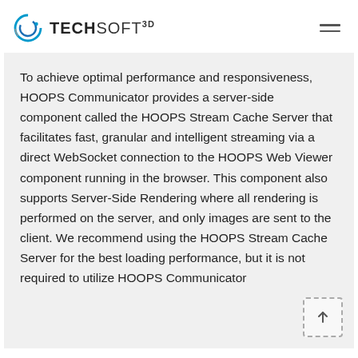TECH SOFT 3D
To achieve optimal performance and responsiveness, HOOPS Communicator provides a server-side component called the HOOPS Stream Cache Server that facilitates fast, granular and intelligent streaming via a direct WebSocket connection to the HOOPS Web Viewer component running in the browser. This component also supports Server-Side Rendering where all rendering is performed on the server, and only images are sent to the client. We recommend using the HOOPS Stream Cache Server for the best loading performance, but it is not required to utilize HOOPS Communicator